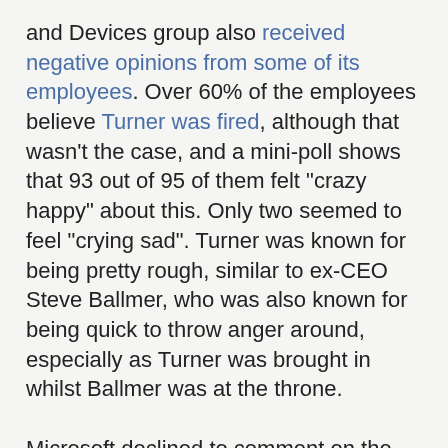and Devices group also received negative opinions from some of its employees. Over 60% of the employees believe Turner was fired, although that wasn't the case, and a mini-poll shows that 93 out of 95 of them felt "crazy happy" about this. Only two seemed to feel "crying sad". Turner was known for being pretty rough, similar to ex-CEO Steve Ballmer, who was also known for being quick to throw anger around, especially as Turner was brought in whilst Ballmer was at the throne.
Microsoft declined to comment on the discussions that took place amongst many of its employees.